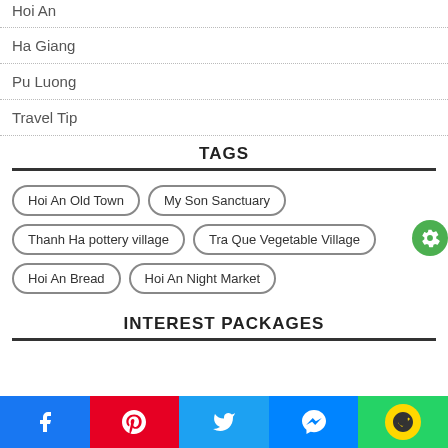Hoi An
Ha Giang
Pu Luong
Travel Tip
TAGS
Hoi An Old Town
My Son Sanctuary
Thanh Ha pottery village
Tra Que Vegetable Village
Hoi An Bread
Hoi An Night Market
INTEREST PACKAGES